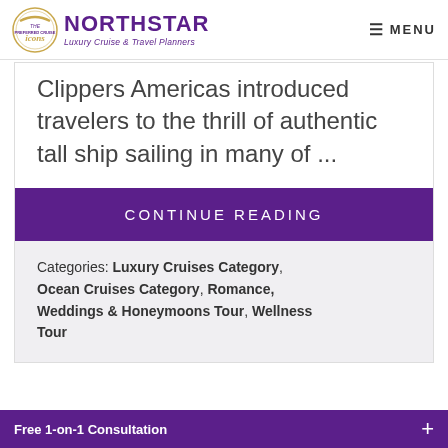NORTHSTAR Luxury Cruise & Travel Planners | MENU
Clippers Americas introduced travelers to the thrill of authentic tall ship sailing in many of ...
CONTINUE READING
Categories: Luxury Cruises Category, Ocean Cruises Category, Romance, Weddings & Honeymoons Tour, Wellness Tour
Free 1-on-1 Consultation +